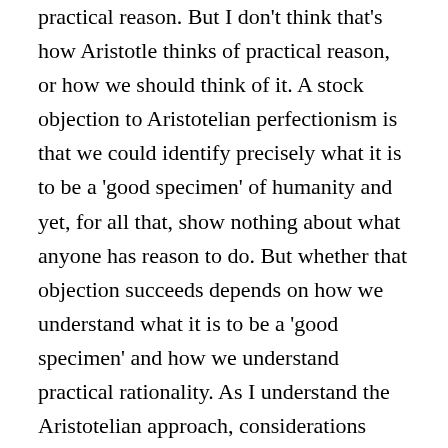practical reason. But I don't think that's how Aristotle thinks of practical reason, or how we should think of it. A stock objection to Aristotelian perfectionism is that we could identify precisely what it is to be a 'good specimen' of humanity and yet, for all that, show nothing about what anyone has reason to do. But whether that objection succeeds depends on how we understand what it is to be a 'good specimen' and how we understand practical rationality. As I understand the Aristotelian approach, considerations about good human functioning identify not simply the minimal threshold that one has to meet in order to count as not lacking some standard human capacity,